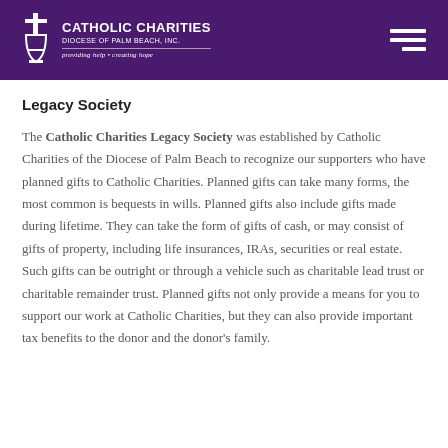Catholic Charities Diocese of Palm Beach, Inc. — providing help • creating hope
Legacy Society
The Catholic Charities Legacy Society was established by Catholic Charities of the Diocese of Palm Beach to recognize our supporters who have planned gifts to Catholic Charities. Planned gifts can take many forms, the most common is bequests in wills. Planned gifts also include gifts made during lifetime. They can take the form of gifts of cash, or may consist of gifts of property, including life insurances, IRAs, securities or real estate. Such gifts can be outright or through a vehicle such as charitable lead trust or charitable remainder trust. Planned gifts not only provide a means for you to support our work at Catholic Charities, but they can also provide important tax benefits to the donor and the donor's family.